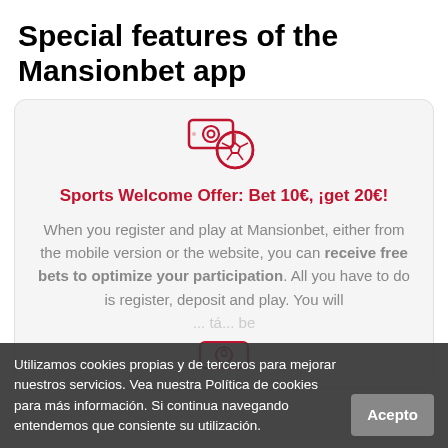Special features of the Mansionbet app
[Figure (illustration): Icon showing money/bills and a football/soccer ball, in dark red outline style]
Sports Welcome Offer: Bet 10€, ¡get 20€!
When you register and play at Mansionbet, either from the mobile version or the website, you can receive free bets to optimize your participation. All you have to do is register, deposit and play. You will ... be ...
Utilizamos cookies propias y de terceros para mejorar nuestros servicios. Vea nuestra Política de cookies para más información. Si continua navegando entendemos que consiente su utilización.
Acepto